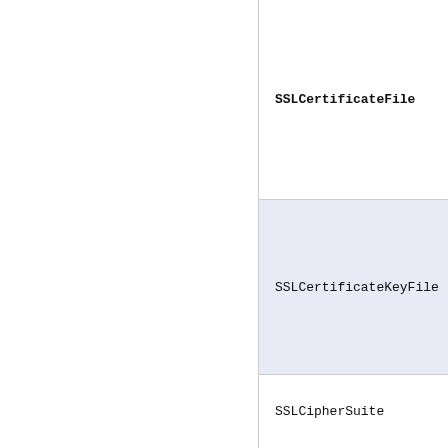SSLCertificateFile
SSLCertificateKeyFile
SSLCipherSuite